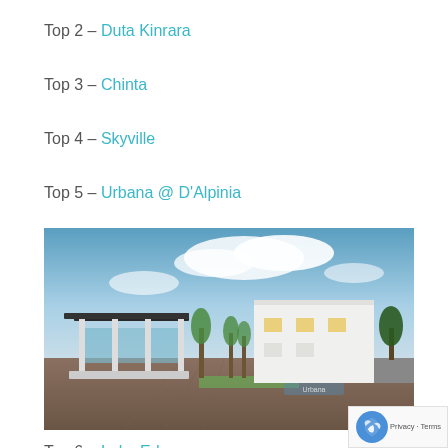Top 2 – Duta Kinrara
Top 3 – Chinta
Top 4 – Skyville
Top 5 – Urbana @ D'Alpinia
[Figure (photo): Exterior photo of a modern residential development showing a contemporary pavilion/guardhouse with glass walls and flat roof on the left, and a white multi-storey house on the right, with trees and landscaping in between, under a blue sky with clouds.]
Top 6 – Lake Edge